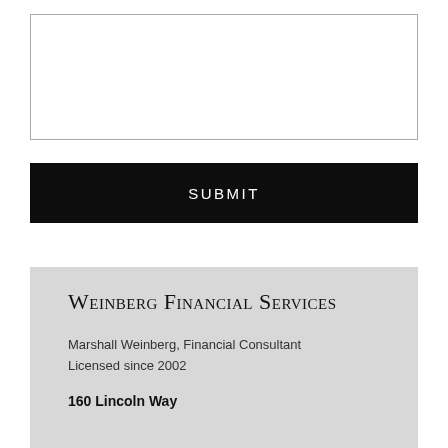[Figure (other): A large empty white text input box with a thin gray border]
SUBMIT
Weinberg Financial Services
Marshall Weinberg,  Financial Consultant
Licensed since 2002
160 Lincoln Way